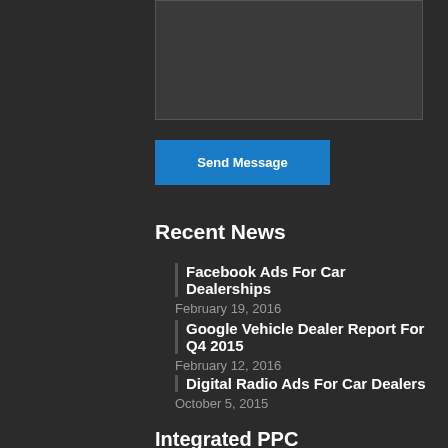[Figure (screenshot): Dark textarea input box]
Send Message
Recent News
Facebook Ads For Car Dealerships
February 19, 2016
Google Vehicle Dealer Report For Q4 2015
February 12, 2016
Digital Radio Ads For Car Dealers
October 5, 2015
Integrated PPC
PPC for car dealers. We offer industry leading service and results.